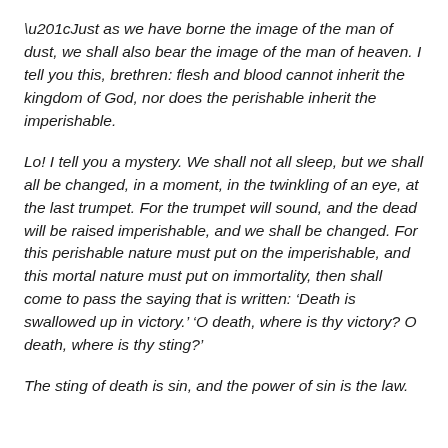“Just as we have borne the image of the man of dust, we shall also bear the image of the man of heaven. I tell you this, brethren: flesh and blood cannot inherit the kingdom of God, nor does the perishable inherit the imperishable.
Lo! I tell you a mystery. We shall not all sleep, but we shall all be changed, in a moment, in the twinkling of an eye, at the last trumpet. For the trumpet will sound, and the dead will be raised imperishable, and we shall be changed. For this perishable nature must put on the imperishable, and this mortal nature must put on immortality, then shall come to pass the saying that is written: ‘Death is swallowed up in victory.’ ‘O death, where is thy victory? O death, where is thy sting?’
The sting of death is sin, and the power of sin is the law.